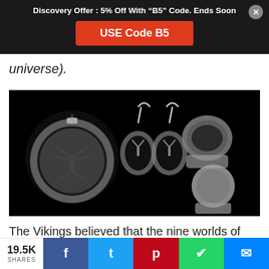Discovery Offer : 5% Off With “B5” Code. Ends Soon
USE Code B5
universe).
[Figure (photo): Silver jewelry collection on black background: a large tree of life pendant on a cord, a pair of tree of life dangle earrings, a signet ring with tree of life design, and a round silver ring.]
The Vikings believed that the nine worlds of the Norse cosmos were tucked into the roots and branches of the tree. The tree
19.5K SHARES